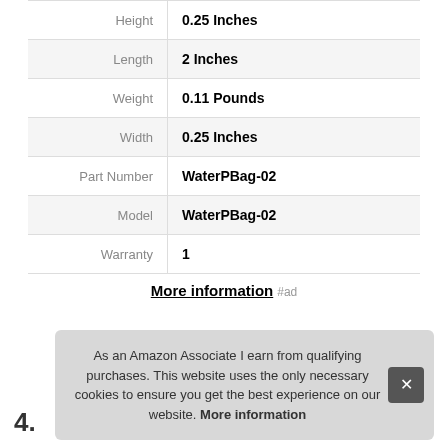| Attribute | Value |
| --- | --- |
| Height | 0.25 Inches |
| Length | 2 Inches |
| Weight | 0.11 Pounds |
| Width | 0.25 Inches |
| Part Number | WaterPBag-02 |
| Model | WaterPBag-02 |
| Warranty | 1 |
More information #ad
As an Amazon Associate I earn from qualifying purchases. This website uses the only necessary cookies to ensure you get the best experience on our website. More information